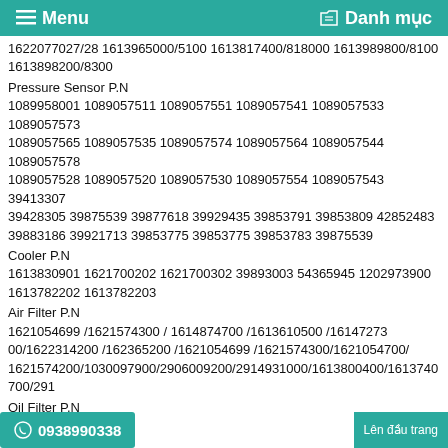≡ Menu   ⊳ Danh mục
1622077027/28 1613965000/5100 1613817400/818000 1613989800/8100 1613898200/8300
Pressure Sensor P.N
1089958001 1089057511 1089057551 1089057541 1089057533 1089057573 1089057565 1089057535 1089057574 1089057564 1089057544 1089057578 1089057528 1089057520 1089057530 1089057554 1089057543 39413307 39428305 39875539 39877618 39929435 39853791 39853809 42852483 39883186 39921713 39853775 39853775 39853783 39875539
Cooler P.N
1613830901 1621700202 1621700302 39893003 54365945 1202973900 1613782202 1613782203
Air Filter P.N
1621054699 /1621574300 / 1614874700 /1613610500 /1614727300/1622314200 /162365200 /1621054699 /1621574300/1621054700/1621574200/1030097900/2906009200/2914931000/1613800400/1613740700/291
Oil Filter P.N
1202626301/1202626301/1202626302/1202626203/1202626204/1202627302 1617703909/1617704111/1617704203/1617704201/1617704303/1617704301 1617704305/1617704104/2900058200/1619622700/2901196100/2901196300 89295976/42855429/42888214/39588470/39588777/99273906/39750732
Oil Separator P.N
2901194402/ 1622035101/1613901400/1612386900/1613750200/1622007900 ...00/1613688000/1613839700/1613839702/1622314000 //5/9313W/16/480/5400/1614642300/1622365600/54595442/39831888